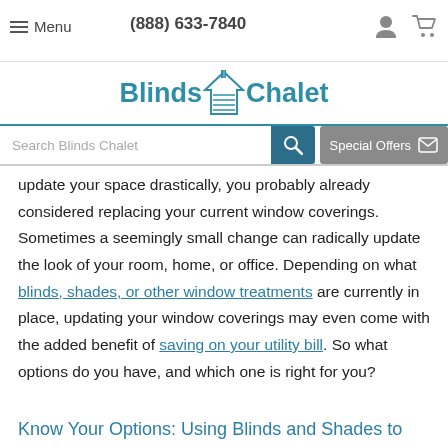Menu | (888) 633-7840
[Figure (logo): Blinds Chalet logo with house/blind icon]
[Figure (screenshot): Search bar with 'Search Blinds Chalet' placeholder and teal search button; Special Offers button with envelope icon]
update your space drastically, you probably already considered replacing your current window coverings. Sometimes a seemingly small change can radically update the look of your room, home, or office. Depending on what blinds, shades, or other window treatments are currently in place, updating your window coverings may even come with the added benefit of saving on your utility bill. So what options do you have, and which one is right for you?
Know Your Options: Using Blinds and Shades to